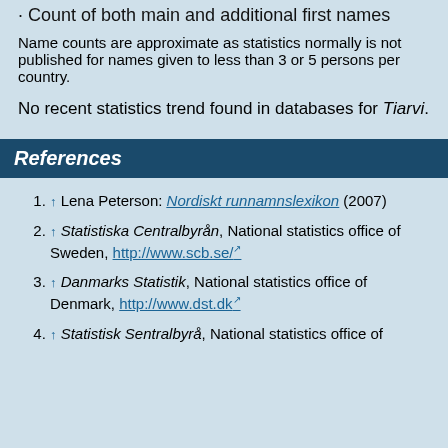· Count of both main and additional first names
Name counts are approximate as statistics normally is not published for names given to less than 3 or 5 persons per country.
No recent statistics trend found in databases for Tiarvi.
References
↑ Lena Peterson: Nordiskt runnamnslexikon (2007)
↑ Statistiska Centralbyrån, National statistics office of Sweden, http://www.scb.se/
↑ Danmarks Statistik, National statistics office of Denmark, http://www.dst.dk
↑ Statistisk Sentralbyrå, National statistics office of